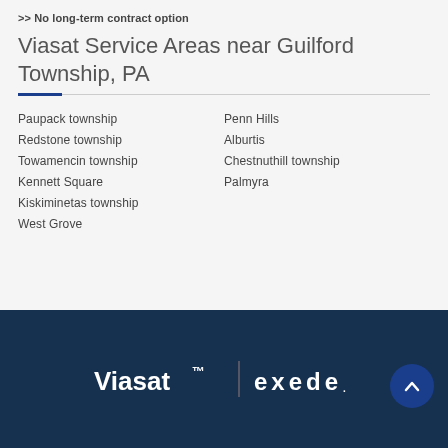>> No long-term contract option
Viasat Service Areas near Guilford Township, PA
Paupack township
Redstone township
Towamencin township
Kennett Square
Kiskiminetas township
West Grove
Penn Hills
Alburtis
Chestnuthill township
Palmyra
[Figure (logo): Viasat and Exede logo on dark navy background with scroll-to-top button]